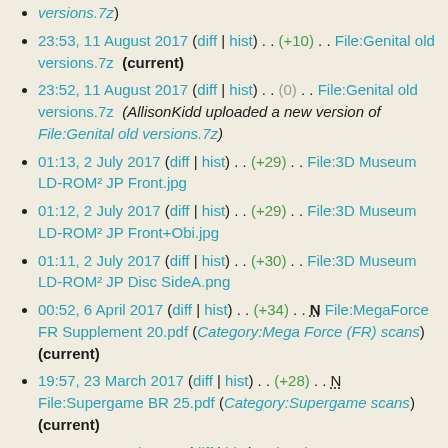versions.7z)
23:53, 11 August 2017 (diff | hist) . . (+10) . . File:Genital old versions.7z (current)
23:52, 11 August 2017 (diff | hist) . . (0) . . File:Genital old versions.7z (AllisonKidd uploaded a new version of File:Genital old versions.7z)
01:13, 2 July 2017 (diff | hist) . . (+29) . . File:3D Museum LD-ROM² JP Front.jpg
01:12, 2 July 2017 (diff | hist) . . (+29) . . File:3D Museum LD-ROM² JP Front+Obi.jpg
01:11, 2 July 2017 (diff | hist) . . (+30) . . File:3D Museum LD-ROM² JP Disc SideA.png
00:52, 6 April 2017 (diff | hist) . . (+34) . . N File:MegaForce FR Supplement 20.pdf (Category:Mega Force (FR) scans) (current)
19:57, 23 March 2017 (diff | hist) . . (+28) . . N File:Supergame BR 25.pdf (Category:Supergame scans) (current)
21:36, 21 March 2017 (diff | hist) . . (+33) . . N